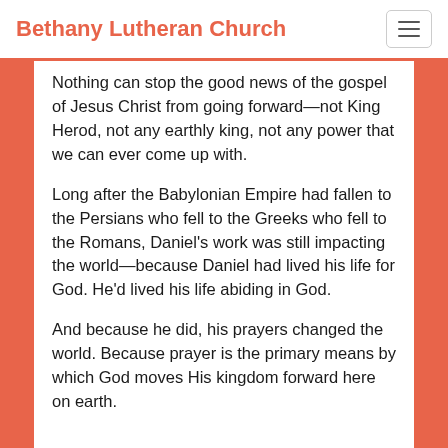Bethany Lutheran Church
Nothing can stop the good news of the gospel of Jesus Christ from going forward—not King Herod, not any earthly king, not any power that we can ever come up with.
Long after the Babylonian Empire had fallen to the Persians who fell to the Greeks who fell to the Romans, Daniel's work was still impacting the world—because Daniel had lived his life for God. He'd lived his life abiding in God.
And because he did, his prayers changed the world. Because prayer is the primary means by which God moves His kingdom forward here on earth.